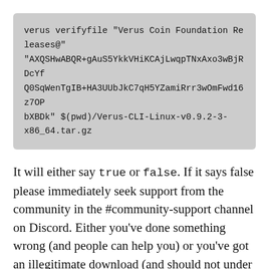verus verifyfile "Verus Coin Foundation Releases@" "AXQSHwABQR+gAuS5YkkVHiKCAjLwqpTNxAxo3wBjRDcYfQ0SqWenTgIB+HA3UUbJkC7qH5YZamiRrr3wOmFwd16z7OPbXBDk" $(pwd)/Verus-CLI-Linux-v0.9.2-3-x86_64.tar.gz
It will either say true or false. If it says false please immediately seek support from the community in the #community-support channel on Discord. Either you've done something wrong (and people can help you) or you've got an illegitimate download (and should not under any circumstances run it).